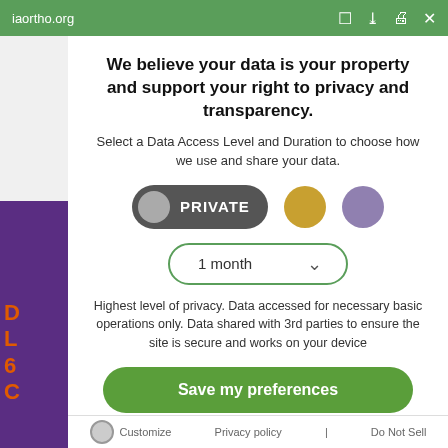iaortho.org
We believe your data is your property and support your right to privacy and transparency.
Select a Data Access Level and Duration to choose how we use and share your data.
[Figure (infographic): Three toggle/selection buttons: a dark pill-shaped 'PRIVATE' toggle (active), a gold circle, and a lavender circle]
[Figure (infographic): Dropdown selector showing '1 month' with a green border and down arrow]
Highest level of privacy. Data accessed for necessary basic operations only. Data shared with 3rd parties to ensure the site is secure and works on your device
Save my preferences
Customize   Privacy policy   Do Not Sell